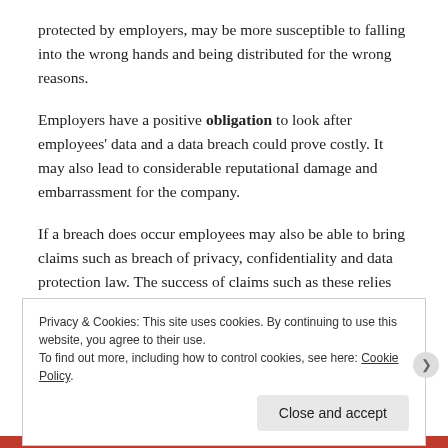protected by employers, may be more susceptible to falling into the wrong hands and being distributed for the wrong reasons.
Employers have a positive obligation to look after employees' data and a data breach could prove costly. It may also lead to considerable reputational damage and embarrassment for the company.
If a breach does occur employees may also be able to bring claims such as breach of privacy, confidentiality and data protection law. The success of claims such as these relies largely on the degree of financial loss suffered by
Privacy & Cookies: This site uses cookies. By continuing to use this website, you agree to their use. To find out more, including how to control cookies, see here: Cookie Policy